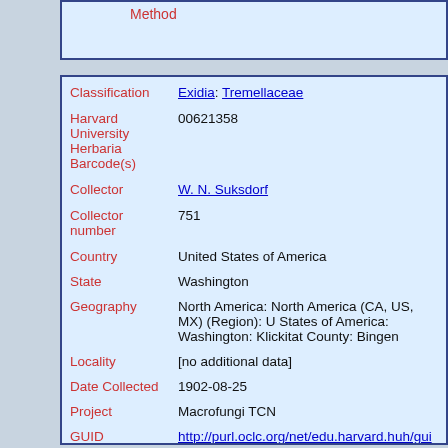| Field | Value |
| --- | --- |
| Classification | Exidia: Tremellaceae |
| Harvard University Herbaria Barcode(s) | 00621358 |
| Collector | W. N. Suksdorf |
| Collector number | 751 |
| Country | United States of America |
| State | Washington |
| Geography | North America: North America (CA, US, MX) (Region): United States of America: Washington: Klickitat County: Bingen |
| Locality | [no additional data] |
| Date Collected | 1902-08-25 |
| Project | Macrofungi TCN |
| GUID | http://purl.oclc.org/net/edu.harvard.huh/guid/uuid/edb eb76-4a87-9e7e-d92de2cd5770 |
| Harvard | 00621358 |